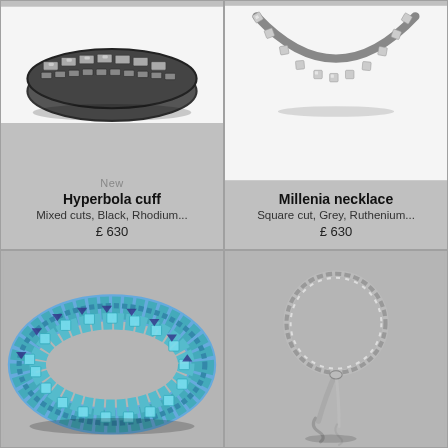[Figure (photo): Hyperbola cuff bracelet: Mixed cuts, Black, Rhodium plated, dark crystal baguette band]
New
Hyperbola cuff
Mixed cuts, Black, Rhodium...
£ 630
[Figure (photo): Millenia necklace: Square cut, Grey, Ruthenium plated, grey crystal tennis necklace]
Millenia necklace
Square cut, Grey, Ruthenium...
£ 630
[Figure (photo): Blue crystal cuff bracelet with spike edges and square blue crystals]
[Figure (photo): Silver chain lariat necklace with twisted tassel end]